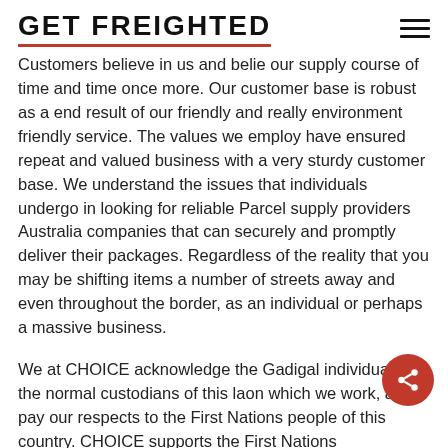GET FREIGHTED
Customers believe in us and belie our supply course of time and time once more. Our customer base is robust as a end result of our friendly and really environment friendly service. The values we employ have ensured repeat and valued business with a very sturdy customer base. We understand the issues that individuals undergo in looking for reliable Parcel supply providers Australia companies that can securely and promptly deliver their packages. Regardless of the reality that you may be shifting items a number of streets away and even throughout the border, as an individual or perhaps a massive business.
We at CHOICE acknowledge the Gadigal individuals, the normal custodians of this la on which we work, and pay our respects to the First Nations people of this country. CHOICE supports the First Nations